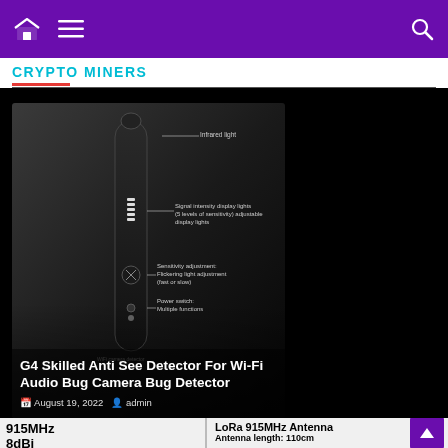Navigation bar with home icon, menu icon, and search icon
CRYPTO MINERS
[Figure (photo): Product photo of a black handheld bug/camera detector device with labeled parts: Infrared light, Signal intensity display lights (5 levels of sensitivity) adjustable display lights, Sensitivity adjustment: Flickering light adjustment (fast or slow), Power switch: Multiple functions]
G4 Skilled Anti See Detector For Wi-Fi Audio Bug Camera Bug Detector
August 19, 2022  admin
[Figure (photo): Bottom left partial image showing '915MHz 8dBi' text with a blue antenna product image]
[Figure (photo): Bottom right partial image showing 'LoRa 915MHz Antenna' with 'Antenna length: 110cm Cable length: 300cm']